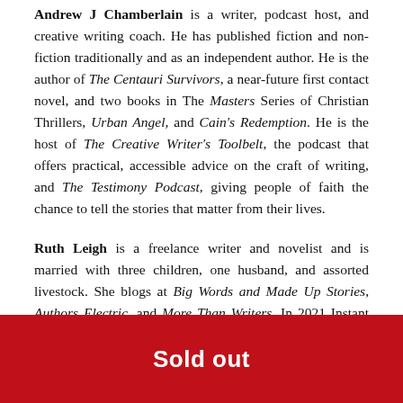Andrew J Chamberlain is a writer, podcast host, and creative writing coach. He has published fiction and non-fiction traditionally and as an independent author. He is the author of The Centauri Survivors, a near-future first contact novel, and two books in The Masters Series of Christian Thrillers, Urban Angel, and Cain's Redemption. He is the host of The Creative Writer's Toolbelt, the podcast that offers practical, accessible advice on the craft of writing, and The Testimony Podcast, giving people of faith the chance to tell the stories that matter from their lives.
Ruth Leigh is a freelance writer and novelist and is married with three children, one husband, and assorted livestock. She blogs at Big Words and Made Up Stories, Authors Electric, and More Than Writers. In 2021 Instant Apostle published her debut
[Figure (other): Red 'Sold out' button/banner at the bottom of the page]